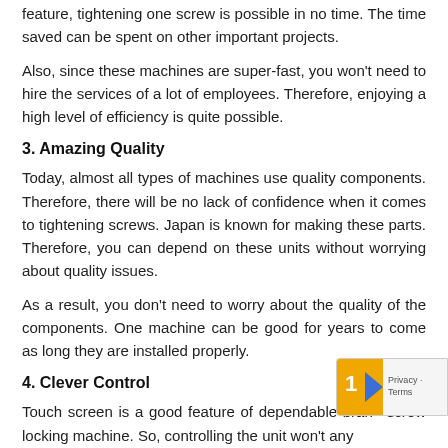feature, tightening one screw is possible in no time. The time saved can be spent on other important projects.
Also, since these machines are super-fast, you won't need to hire the services of a lot of employees. Therefore, enjoying a high level of efficiency is quite possible.
3. Amazing Quality
Today, almost all types of machines use quality components. Therefore, there will be no lack of confidence when it comes to tightening screws. Japan is known for making these parts. Therefore, you can depend on these units without worrying about quality issues.
As a result, you don't need to worry about the quality of the components. One machine can be good for years to come as long they are installed properly.
4. Clever Control
Touch screen is a good feature of dependable brand screw locking machine. So, controlling the unit won't any